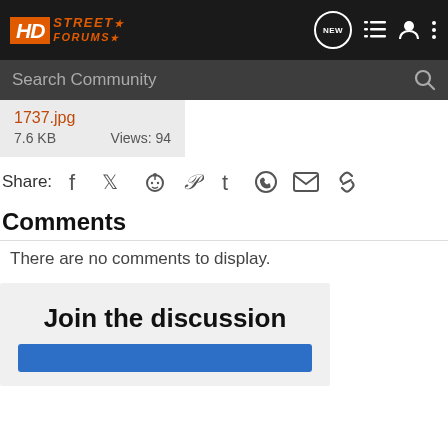HD Street Forums - navigation bar with search
1737.jpg
7.6 KB   Views: 94
Share:
Comments
There are no comments to display.
Join the discussion